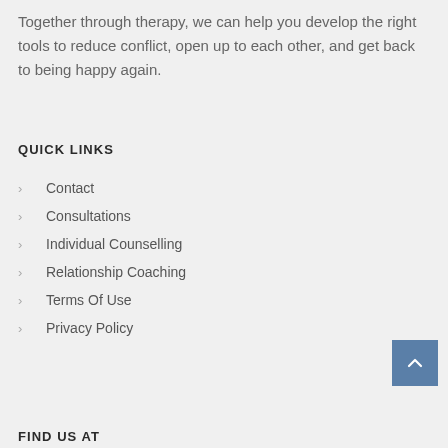Together through therapy, we can help you develop the right tools to reduce conflict, open up to each other, and get back to being happy again.
QUICK LINKS
Contact
Consultations
Individual Counselling
Relationship Coaching
Terms Of Use
Privacy Policy
FIND US AT